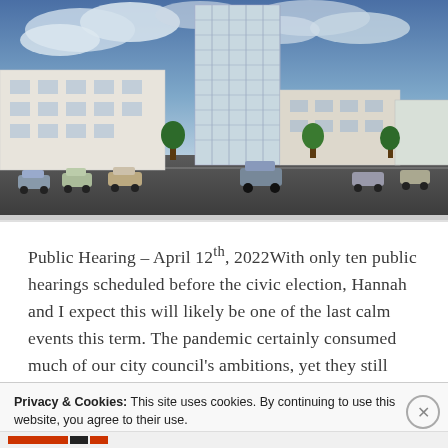[Figure (illustration): Architectural rendering of a multi-story mixed-use building with a tall glass tower and lower-rise residential wings, with cars on the street in front, under a cloudy sky.]
Public Hearing – April 12th, 2022With only ten public hearings scheduled before the civic election, Hannah and I expect this will likely be one of the last calm events this term. The pandemic certainly consumed much of our city council's ambitions, yet they still managed to spend plenty of time debating simple things like Item...
Privacy & Cookies: This site uses cookies. By continuing to use this website, you agree to their use.
To find out more, including how to control cookies, see here: Cookie Policy
Close and accept